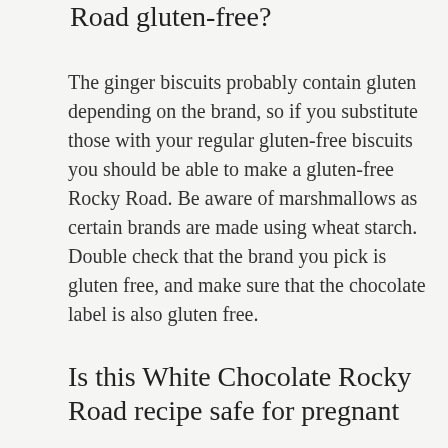Road gluten-free?
The ginger biscuits probably contain gluten depending on the brand, so if you substitute those with your regular gluten-free biscuits you should be able to make a gluten-free Rocky Road. Be aware of marshmallows as certain brands are made using wheat starch. Double check that the brand you pick is gluten free, and make sure that the chocolate label is also gluten free.
Is this White Chocolate Rocky Road recipe safe for pregnant